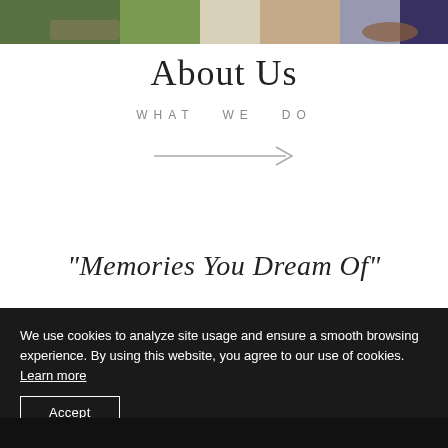[Figure (photo): Top strip of a photo showing outdoor scene with green grass, food dish, and person wearing brown shoes]
About Us
WHAT WE DO
[Figure (illustration): Rightward-pointing arrow (horizontal line with arrowhead)]
"Memories You Dream Of"
We use cookies to analyze site usage and ensure a smooth browsing experience. By using this website, you agree to our use of cookies. Learn more
Accept
[Figure (photo): Dark bottom portion of a photograph]